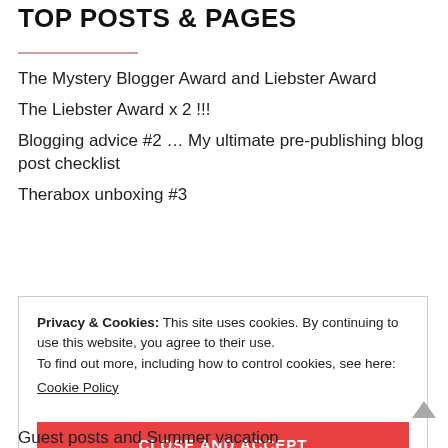TOP POSTS & PAGES
The Mystery Blogger Award and Liebster Award
The Liebster Award x 2 !!!
Blogging advice #2 … My ultimate pre-publishing blog post checklist
Therabox unboxing #3
Privacy & Cookies: This site uses cookies. By continuing to use this website, you agree to their use.
To find out more, including how to control cookies, see here:
Cookie Policy
CLOSE AND ACCEPT
Guest posts and Summer vacation